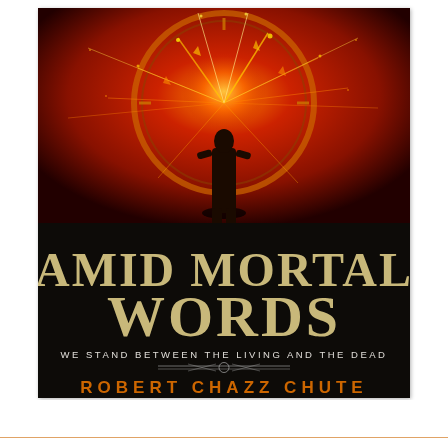[Figure (illustration): Book cover for 'Amid Mortal Words' by Robert Chazz Chute. The upper portion shows a dramatic scene with a lone figure standing against a massive fiery explosion with orange and red tones, sparks flying, and a large circular clock-like shape in the background. The lower portion is black with large Art Deco style title text 'AMID MORTAL WORDS' in gold/tan, subtitle 'WE STAND BETWEEN THE LIVING AND THE DEAD' in white small caps, a decorative divider, and the author name 'ROBERT CHAZZ CHUTE' in orange spaced capitals.]